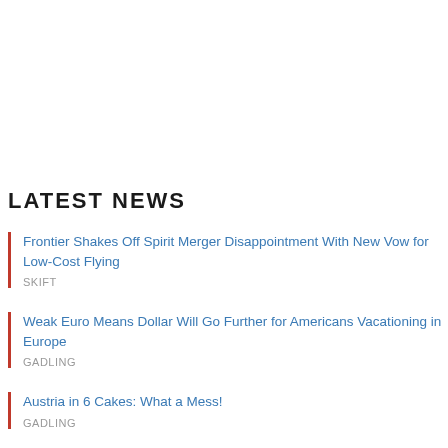LATEST NEWS
Frontier Shakes Off Spirit Merger Disappointment With New Vow for Low-Cost Flying
SKIFT
Weak Euro Means Dollar Will Go Further for Americans Vacationing in Europe
GADLING
Austria in 6 Cakes: What a Mess!
GADLING